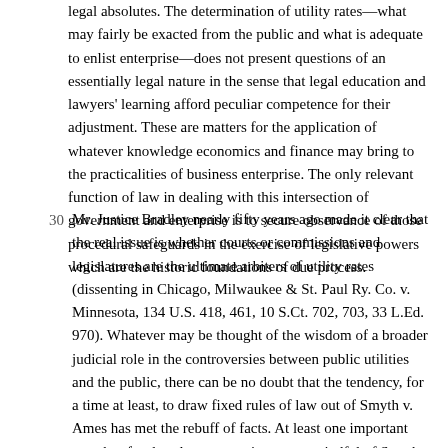legal absolutes. The determination of utility rates—what may fairly be exacted from the public and what is adequate to enlist enterprise—does not present questions of an essentially legal nature in the sense that legal education and lawyers' learning afford peculiar competence for their adjustment. These are matters for the application of whatever knowledge economics and finance may bring to the practicalities of business enterprise. The only relevant function of law in dealing with this intersection of government and enterprise is to secure observance of those procedural safeguards in the exercise of legislative powers which are the historic foundations of due process.
30  Mr. Justice Bradley nearly fifty years ago made it clear that the real issue is whether courts or commissions and legislatures are the ultimate arbiters of utility rates (dissenting in Chicago, Milwaukee & St. Paul Ry. Co. v. Minnesota, 134 U.S. 418, 461, 10 S.Ct. 702, 703, 33 L.Ed. 970). Whatever may be thought of the wisdom of a broader judicial role in the controversies between public utilities and the public, there can be no doubt that the tendency, for a time at least, to draw fixed rules of law out of Smyth v. Ames has met the rebuff of facts. At least one important state has for decades gone on its way unmindful of Smyth v. Ames, and other states have by various proposals sought to escape the fog into which speculations based